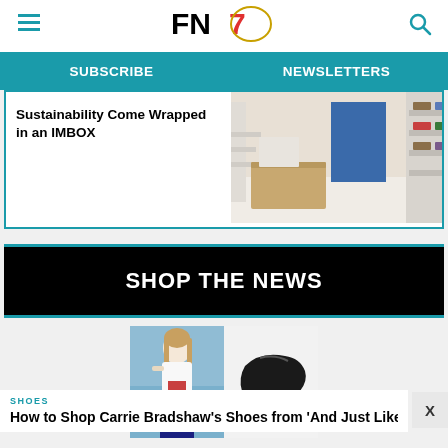FN (Footwear News) website header with hamburger menu, FN logo, and search icon
SUBSCRIBE | NEWSLETTERS
Sustainability Come Wrapped in an IMBOX
[Figure (photo): Interior of a shoe store with wooden counter, shelving units displaying shoes, and blue display element]
SHOP THE NEWS
[Figure (photo): Split image showing a person in white outfit on left and a high-heel shoe with shopping bag icon on right]
SHOES
How to Shop Carrie Bradshaw's Shoes from 'And Just Like